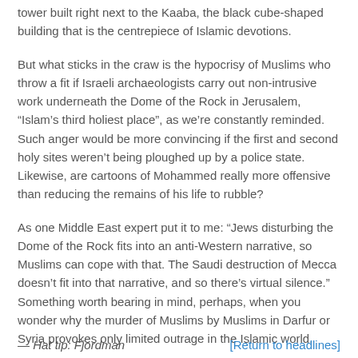tower built right next to the Kaaba, the black cube-shaped building that is the centrepiece of Islamic devotions.
But what sticks in the craw is the hypocrisy of Muslims who throw a fit if Israeli archaeologists carry out non-intrusive work underneath the Dome of the Rock in Jerusalem, “Islam’s third holiest place”, as we’re constantly reminded. Such anger would be more convincing if the first and second holy sites weren’t being ploughed up by a police state. Likewise, are cartoons of Mohammed really more offensive than reducing the remains of his life to rubble?
As one Middle East expert put it to me: “Jews disturbing the Dome of the Rock fits into an anti-Western narrative, so Muslims can cope with that. The Saudi destruction of Mecca doesn’t fit into that narrative, and so there’s virtual silence.” Something worth bearing in mind, perhaps, when you wonder why the murder of Muslims by Muslims in Darfur or Syria provokes only limited outrage in the Islamic world.
— Hat tip: Fjordman
[Return to headlines]